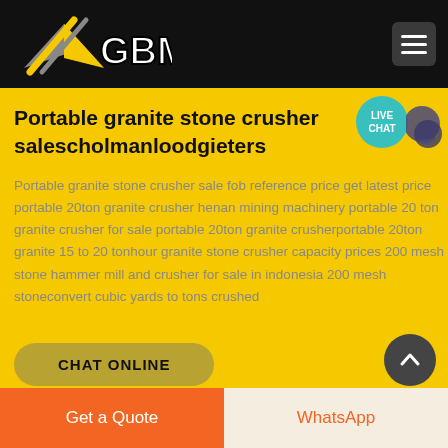GBM
Portable granite stone crusher salescholmanloodgieters
Portable granite stone crusher sale fob reference price get latest price portable 20ton granite crusher henan mining machinery portable 20 ton granite crusher for sale portable 20ton granite crusherportable 20ton granite 15 to 20 tonhour granite stone crusher capacity prices 200 mesh stone hammer mill and crusher for sale in indonesia 200 mesh stoneconvert cubic yards to tons crushed
CHAT ONLINE
Get a Quote
WhatsApp